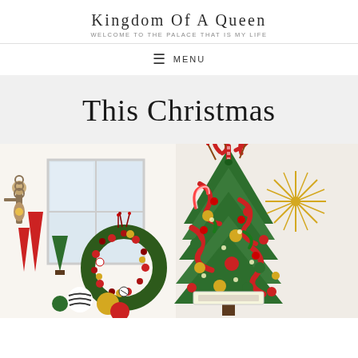Kingdom of a Queen
WELCOME TO THE PALACE THAT IS MY LIFE
≡ MENU
This Christmas
[Figure (photo): Christmas holiday decorations photo showing a decorated Christmas tree with red, green and gold ornaments, candy cane ribbons, and a gold starburst topper on the right side, and a decorated wreath with red berries and ornaments on the left side, with red cone decorations and a wall sconce in the background, in a bright white room.]